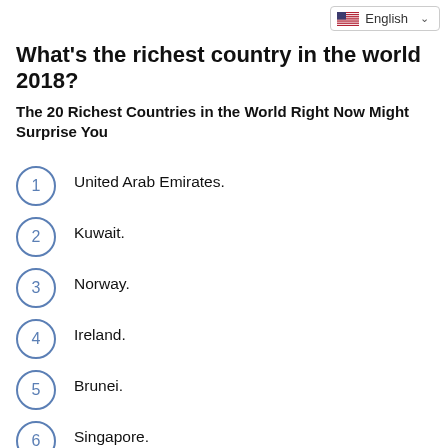What's the richest country in the world 2018?
The 20 Richest Countries in the World Right Now Might Surprise You
United Arab Emirates.
Kuwait.
Norway.
Ireland.
Brunei.
Singapore.
Luxembourg. Luxembourg has a GDP (PPP) per capita of $112,710.
Qatar. Qatar has a GDP (PPP) per capita of $129,360